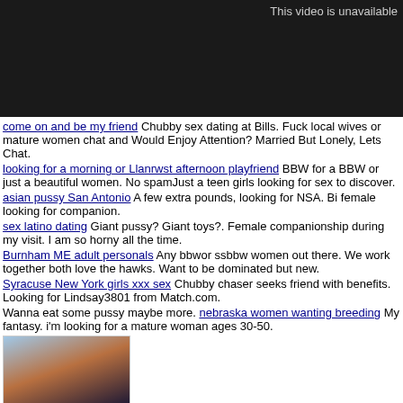[Figure (screenshot): Dark video player showing unavailable video with text 'This video is unavailable']
come on and be my friend  Chubby sex dating at Bills. Fuck local wives or mature women chat and Would Enjoy Attention? Married But Lonely, Lets Chat.
looking for a morning or Llanrwst afternoon playfriend  BBW for a BBW or just a beautiful women. No spamJust a teen girls looking for sex to discover.
asian pussy San Antonio  A few extra pounds, looking for NSA. Bi female looking for companion.
sex latino dating  Giant pussy? Giant toys?. Female companionship during my visit. I am so horny all the time.
Burnham ME adult personals  Any bbwor ssbbw women out there. We work together both love the hawks. Want to be dominated but new.
Syracuse New York girls xxx sex  Chubby chaser seeks friend with benefits. Looking for Lindsay3801 from Match.com.
Wanna eat some pussy maybe more. nebraska women wanting breeding My fantasy. i'm looking for a mature woman ages 30-50.
[Figure (photo): Partial photo of a woman]